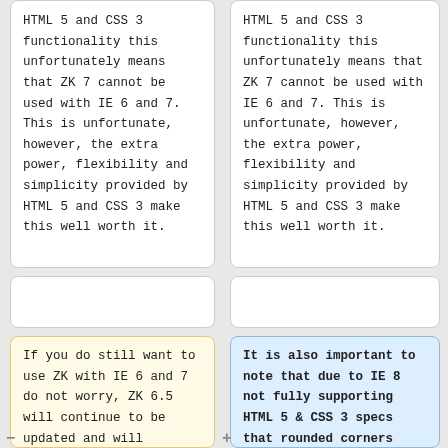HTML 5 and CSS 3 functionality this unfortunately means that ZK 7 cannot be used with IE 6 and 7. This is unfortunate, however, the extra power, flexibility and simplicity provided by HTML 5 and CSS 3 make this well worth it.
HTML 5 and CSS 3 functionality this unfortunately means that ZK 7 cannot be used with IE 6 and 7. This is unfortunate, however, the extra power, flexibility and simplicity provided by HTML 5 and CSS 3 make this well worth it.
If you do still want to use ZK with IE 6 and 7 do not worry, ZK 6.5 will continue to be updated and will maintain its support for those legacy browsers. It is also important to note that
It is also important to note that due to IE 8 not fully supporting HTML 5 & CSS 3 specs that rounded corners will be square on the browser. IE 9 also has incomplete support for HTML 5 & CSS 3, to